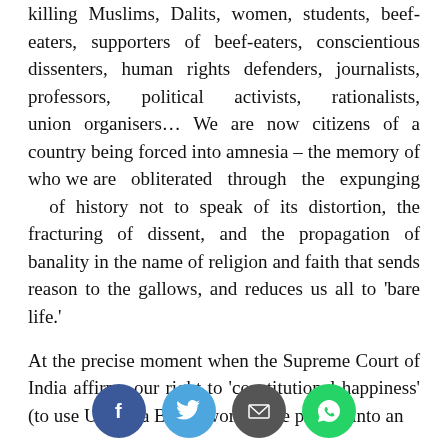killing Muslims, Dalits, women, students, beef-eaters, supporters of beef-eaters, conscientious dissenters, human rights defenders, journalists, professors, political activists, rationalists, union organisers… We are now citizens of a country being forced into amnesia – the memory of who we are obliterated through the expunging of history not to speak of its distortion, the fracturing of dissent, and the propagation of banality in the name of religion and faith that sends reason to the gallows, and reduces us all to 'bare life.'

At the precise moment when the Supreme Court of India affirms our right to 'constitutional happiness' (to use Upendra Baxi's words), we plunge into an
[Figure (infographic): Social sharing buttons: Facebook (dark blue circle), Twitter (light blue circle), Email/envelope (dark grey circle), WhatsApp (green circle)]